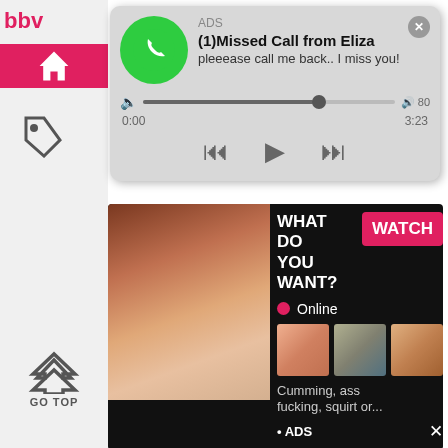[Figure (screenshot): Notification popup showing a missed call from Eliza with audio player controls (rewind, play, fast-forward), time 0:00 to 3:23, labeled ADS]
[Figure (screenshot): Adult advertisement banner with black background showing 'WHAT DO YOU WANT?' text, WATCH button, Online indicator, thumbnail images, and text 'Cumming, ass fucking, squirt or...' with ADS label]
Xporno
WiFe Porn